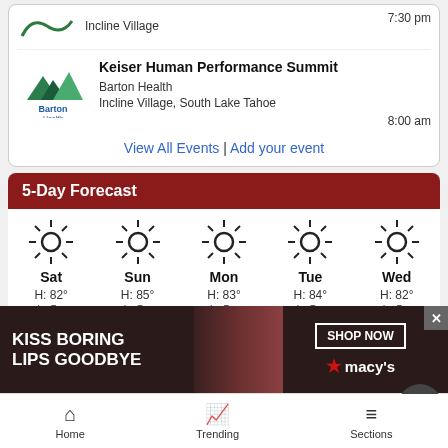Incline Village   7:30 pm
Keiser Human Performance Summit
Barton Health
Incline Village, South Lake Tahoe
8:00 am
View All Events | Add your event
5-Day Forecast
[Figure (infographic): 5-Day weather forecast showing sun icons for Sat, Sun, Mon, Tue, Wed with highs and lows]
[Figure (infographic): Advertisement: KISS BORING LIPS GOODBYE - SHOP NOW - macy's]
Home | Trending | Sections